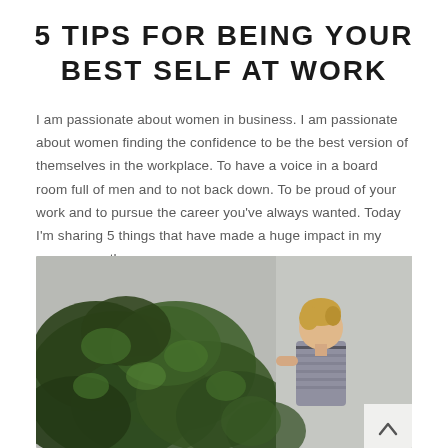5 TIPS FOR BEING YOUR BEST SELF AT WORK
I am passionate about women in business. I am passionate about women finding the confidence to be the best version of themselves in the workplace. To have a voice in a board room full of men and to not back down. To be proud of your work and to pursue the career you've always wanted. Today I'm sharing 5 things that have made a huge impact in my career over the years.
[Figure (photo): A woman with blonde hair standing in front of a wall covered in green ivy/vines, photographed from the side in a casual striped outfit.]